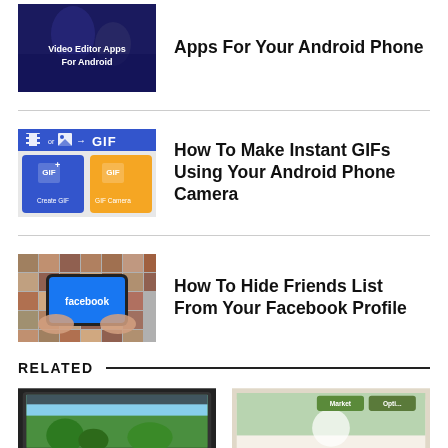[Figure (screenshot): Video Editor Apps For Android thumbnail - dark blue background with text]
Apps For Your Android Phone
[Figure (screenshot): GIF maker app screenshot showing video/photo to GIF conversion options with Create GIF and GIF Camera buttons]
How To Make Instant GIFs Using Your Android Phone Camera
[Figure (photo): Hands holding a phone with Facebook app on screen, surrounded by profile photo grid]
How To Hide Friends List From Your Facebook Profile
RELATED
[Figure (screenshot): Game screenshot showing tropical/island themed game on a laptop]
[Figure (screenshot): Mobile game screenshot showing Market and Options buttons]